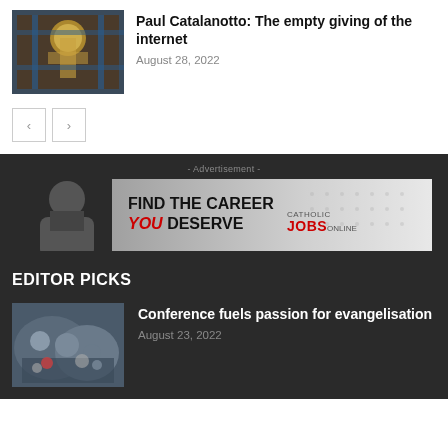[Figure (photo): Stained glass window depicting a religious figure (Christ) with a halo]
Paul Catalanotto: The empty giving of the internet
August 28, 2022
[Figure (other): Navigation buttons with left and right arrow chevrons]
[Figure (other): Advertisement banner: FIND THE CAREER YOU DESERVE - Catholic JOBS Online]
EDITOR PICKS
[Figure (photo): Crowd of people at a conference or event]
Conference fuels passion for evangelisation
August 23, 2022